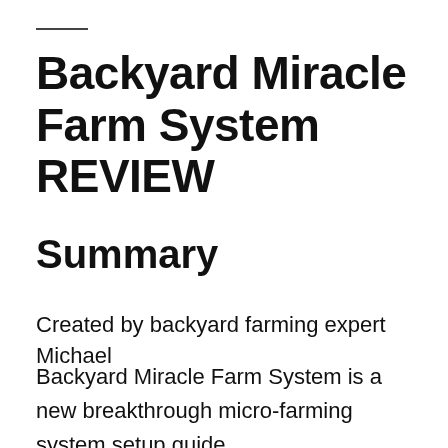Backyard Miracle Farm System REVIEW
Summary
Created by backyard farming expert Michael
Backyard Miracle Farm System is a new breakthrough micro-farming system setup guide